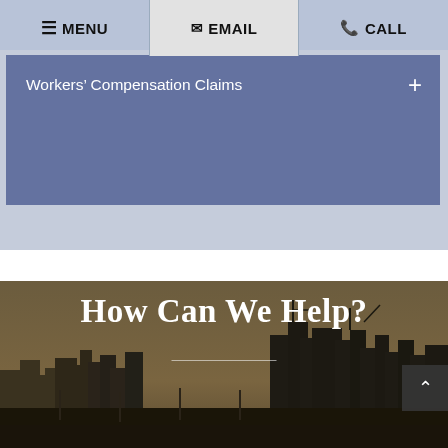MENU  EMAIL  CALL
Workers' Compensation Claims
How Can We Help?
[Figure (photo): City skyline at dusk with warm brownish-gold sky and urban buildings silhouetted against the horizon]